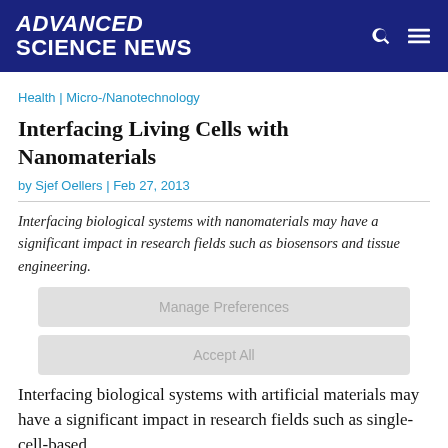ADVANCED SCIENCE NEWS
Health | Micro-/Nanotechnology
Interfacing Living Cells with Nanomaterials
by Sjef Oellers | Feb 27, 2013
Interfacing biological systems with nanomaterials may have a significant impact in research fields such as biosensors and tissue engineering.
Manage Preferences
Accept All
Interfacing biological systems with artificial materials may have a significant impact in research fields such as single-cell-based